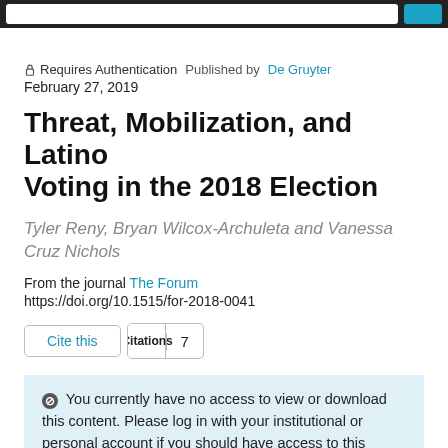Requires Authentication  Published by De Gruyter
February 27, 2019
Threat, Mobilization, and Latino Voting in the 2018 Election
Tyler Reny, Bryan Wilcox-Archuleta and Vanessa Cruz Nichols
From the journal The Forum
https://doi.org/10.1515/for-2018-0041
Cite this  Citations  7
You currently have no access to view or download this content. Please log in with your institutional or personal account if you should have access to this